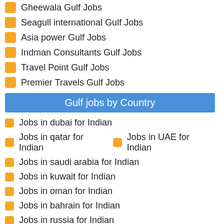Gheewala Gulf Jobs
Seagull international Gulf Jobs
Asia power Gulf Jobs
Indman Consultants Gulf Jobs
Travel Point Gulf Jobs
Premier Travels Gulf Jobs
Gulf jobs by Country
Jobs in dubai for Indian
Jobs in qatar for Indian
Jobs in UAE for Indian
Jobs in saudi arabia for Indian
Jobs in kuwait for Indian
Jobs in oman for Indian
Jobs in bahrain for Indian
Jobs in russia for Indian